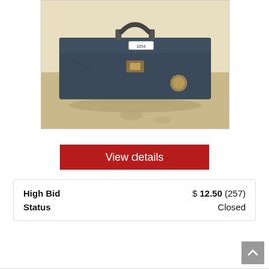[Figure (photo): A worn dark blue/grey metal toolbox with a handle on top and a metal clasp latch in the center. A white tag with '1054' is visible on the lid. The toolbox sits on a concrete or dirt floor against a light beige/cream wall.]
View details
| High Bid | $ 12.50 (257) |
| Status | Closed |